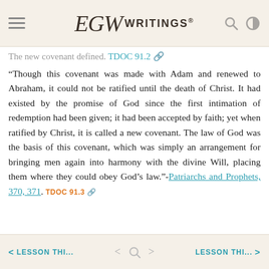EGW WRITINGS®
The new covenant defined. TDOC 91.2
“Though this covenant was made with Adam and renewed to Abraham, it could not be ratified until the death of Christ. It had existed by the promise of God since the first intimation of redemption had been given; it had been accepted by faith; yet when ratified by Christ, it is called a new covenant. The law of God was the basis of this covenant, which was simply an arrangement for bringing men again into harmony with the divine Will, placing them where they could obey God’s law.”-Patriarchs and Prophets, 370, 371. TDOC 91.3
< LESSON THI... < [search] > LESSON THI... >